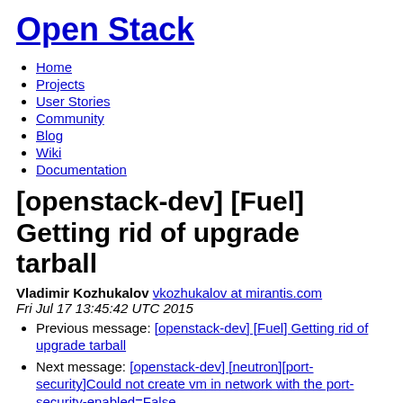Open Stack
Home
Projects
User Stories
Community
Blog
Wiki
Documentation
[openstack-dev] [Fuel] Getting rid of upgrade tarball
Vladimir Kozhukalov vkozhukalov at mirantis.com
Fri Jul 17 13:45:42 UTC 2015
Previous message: [openstack-dev] [Fuel] Getting rid of upgrade tarball
Next message: [openstack-dev] [neutron][port-security]Could not create vm in network with the port-security-enabled=False